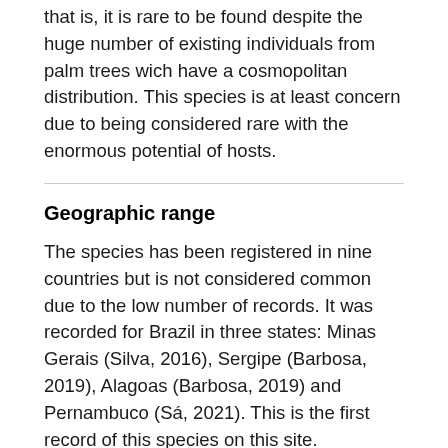that is, it is rare to be found despite the huge number of existing individuals from palm trees wich have a cosmopolitan distribution. This species is at least concern due to being considered rare with the enormous potential of hosts.
Geographic range
The species has been registered in nine countries but is not considered common due to the low number of records. It was recorded for Brazil in three states: Minas Gerais (Silva, 2016), Sergipe (Barbosa, 2019), Alagoas (Barbosa, 2019) and Pernambuco (Sá, 2021). This is the first record of this species on this site.
The “type” specimen was registered in New Jersey, United States of America.